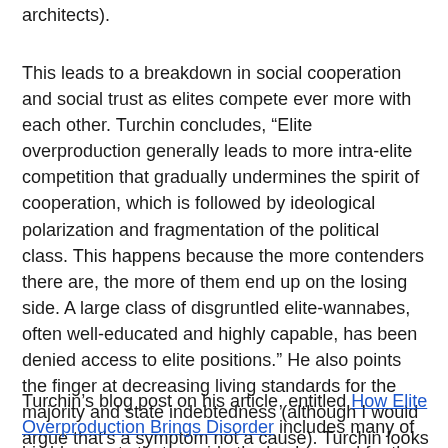architects).
This leads to a breakdown in social cooperation and social trust as elites compete ever more with each other. Turchin concludes, “Elite overproduction generally leads to more intra-elite competition that gradually undermines the spirit of cooperation, which is followed by ideological polarization and fragmentation of the political class. This happens because the more contenders there are, the more of them end up on the losing side. A large class of disgruntled elite-wannabes, often well-educated and highly capable, has been denied access to elite positions.” He also points the finger at decreasing living standards for the majority and state indebtedness (although I would argue that's a symptom not a cause). Turchin looks at various similar periods in history and concludes that things will only get worse. It’s another interesting facet of our slow decline and breakdown as a viable society.
Turchin's blog post on his article, entitled How Elite Overproduction Brings Disorder includes many of his blog posts that provide the background for the article. I suggest